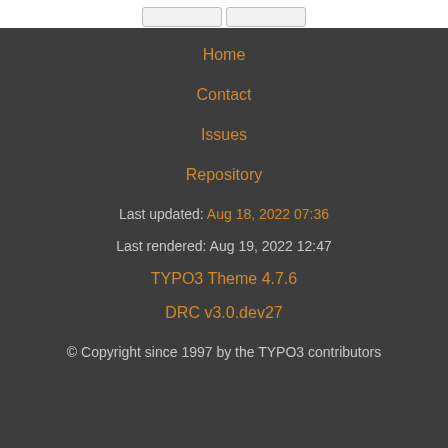Home
Contact
Issues
Repository
Last updated: Aug 18, 2022 07:36
Last rendered: Aug 19, 2022 12:47
TYPO3 Theme 4.7.6
DRC v3.0.dev27
© Copyright since 1997 by the TYPO3 contributors